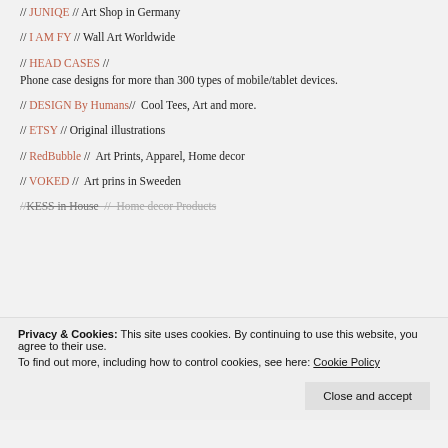// JUNIQE // Art Shop in Germany
// I AM FY // Wall Art Worldwide
// HEAD CASES // Phone case designs for more than 300 types of mobile/tablet devices.
// DESIGN By Humans //  Cool Tees, Art and more.
// ETSY // Original illustrations
// RedBubble //  Art Prints, Apparel, Home decor
// VOKED //  Art prins in Sweeden
// KESS in House  //  Home decor Products
Privacy & Cookies: This site uses cookies. By continuing to use this website, you agree to their use. To find out more, including how to control cookies, see here: Cookie Policy